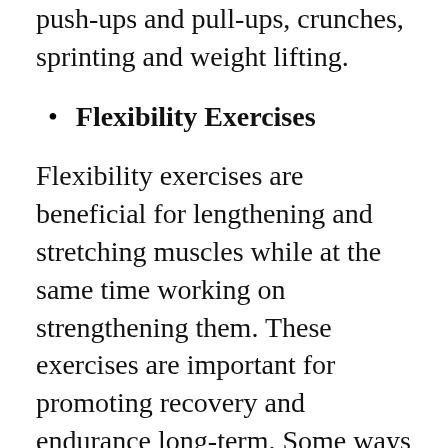push-ups and pull-ups, crunches, sprinting and weight lifting.
Flexibility Exercises
Flexibility exercises are beneficial for lengthening and stretching muscles while at the same time working on strengthening them. These exercises are important for promoting recovery and endurance long-term. Some ways you can stretch your muscles are pilates, yoga as well as warm-up